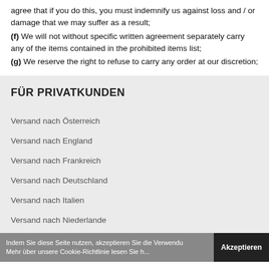agree that if you do this, you must indemnify us against loss and / or damage that we may suffer as a result;
(f) We will not without specific written agreement separately carry any of the items contained in the prohibited items list;
(g) We reserve the right to refuse to carry any order at our discretion;
FÜR PRIVATKUNDEN
Versand nach Österreich
Versand nach England
Versand nach Frankreich
Versand nach Deutschland
Versand nach Italien
Versand nach Niederlande
Indem Sie diese Seite nutzen, akzeptieren Sie die Verwendu... Mehr über unsere Cookie-Richtlinie lesen Sie h... Akzeptieren es.